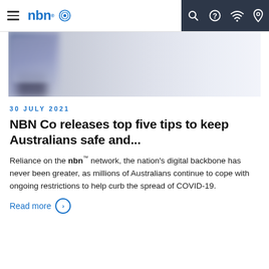nbn
[Figure (photo): Blurred motion photo of a person walking, blue-grey background, partial body visible]
30 JULY 2021
NBN Co releases top five tips to keep Australians safe and...
Reliance on the nbn™ network, the nation's digital backbone has never been greater, as millions of Australians continue to cope with ongoing restrictions to help curb the spread of COVID-19.
Read more